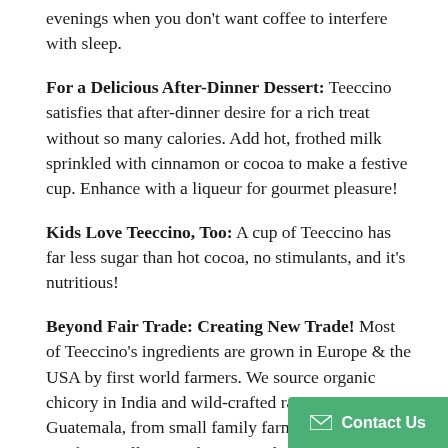evenings when you don't want coffee to interfere with sleep.
For a Delicious After-Dinner Dessert: Teeccino satisfies that after-dinner desire for a rich treat without so many calories. Add hot, frothed milk sprinkled with cinnamon or cocoa to make a festive cup. Enhance with a liqueur for gourmet pleasure!
Kids Love Teeccino, Too: A cup of Teeccino has far less sugar than hot cocoa, no stimulants, and it's nutritious!
Beyond Fair Trade: Creating New Trade! Most of Teeccino's ingredients are grown in Europe & the USA by first world farmers. We source organic chicory in India and wild-crafted ramon nuts in Guatemala, from small family farmers and rainforest villagers. These ingredients create new trade that provides more economic opportunities where income is scarce. By drinking Teeccino, you join us in supporting families devoted to organic, fair trade values in both first world & developing countries.